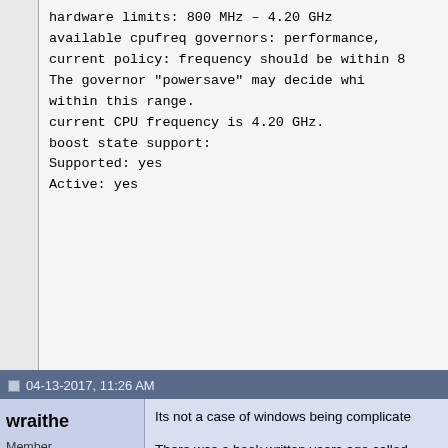hardware limits: 800 MHz - 4.20 GHz
available cpufreq governors: performance,
current policy: frequency should be within 8
The governor "powersave" may decide whi
within this range.
current CPU frequency is 4.20 GHz.
boost state support:
Supported: yes
Active: yes
04-13-2017, 11:26 AM
wraithe
Member

Registered: Feb 2006
Location: Australia
Distribution: Linux... :-)
Posts: 241
Blog Entries: 1

Rep:
Its not a case of windows being complicate

There was a book written years ago called
worse as I get older, so hopefully i got that
It was more than worth the read, it had visu
architecture of the operating systems and t
procedures..

Microsoft worked on a simple system of sta
kernel, then another level, like the functions
desktop... Where linux had the kernel, then
independent of the other, so if your desktop
effected, or the cd drive died your desktop
when it locks up, it kills everything...

But as I said above, I suffer oldtimers, so I
well...